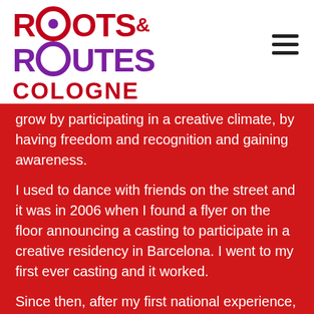[Figure (logo): Roots & Routes Cologne logo with red and purple text and circular letter O designs]
grow by participating in a creative climate, by having freedom and recognition and gaining awareness.
I used to dance with friends on the street and it was in 2006 when I found a flyer on the floor announcing a casting to participate in a creative residency in Barcelona. I went to my first ever casting and it worked.
Since then, after my first national experience, I started travelling for